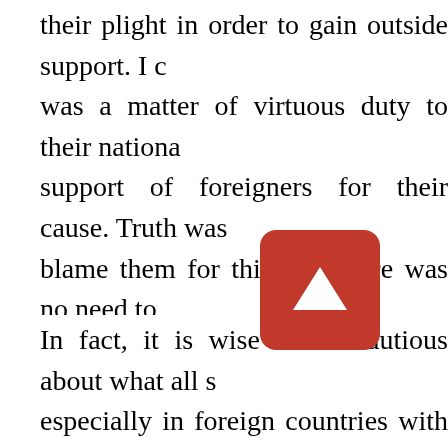their plight in order to gain outside support. I c was a matter of virtuous duty to their nationa support of foreigners for their cause. Truth was blame them for this, but there was no need to Kosovo, kn what would please their edito were told t y Albanians eager to have NAT to them. Which is what happened.
In fact, it is wise to be cautious about what all s especially in foreign countries with which one is lie in homogeneous Iceland, but in much of the w interests.
The poignant “key question” as to how to answe a rhetorical trick to shift the problem out of the sphere of moralistic fiction. It implies that “w